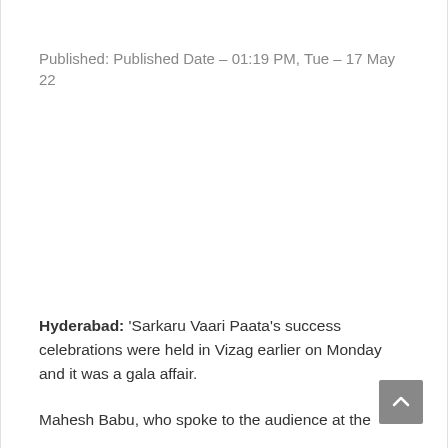Published: Published Date – 01:19 PM, Tue – 17 May 22
Hyderabad: 'Sarkaru Vaari Paata's success celebrations were held in Vizag earlier on Monday and it was a gala affair.
Mahesh Babu, who spoke to the audience at the